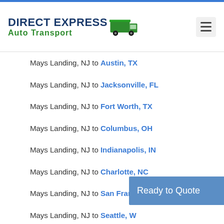Direct Express Auto Transport
Mays Landing, NJ to Austin, TX
Mays Landing, NJ to Jacksonville, FL
Mays Landing, NJ to Fort Worth, TX
Mays Landing, NJ to Columbus, OH
Mays Landing, NJ to Indianapolis, IN
Mays Landing, NJ to Charlotte, NC
Mays Landing, NJ to San Francisco, CA
Mays Landing, NJ to Seattle, WA
Mays Landing, NJ to Denver, CO